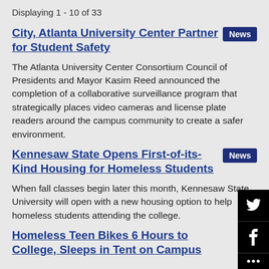Displaying 1 - 10 of 33
City, Atlanta University Center Partner for Student Safety
The Atlanta University Center Consortium Council of Presidents and Mayor Kasim Reed announced the completion of a collaborative surveillance program that strategically places video cameras and license plate readers around the campus community to create a safer environment.
Kennesaw State Opens First-of-its-Kind Housing for Homeless Students
When fall classes begin later this month, Kennesaw State University will open with a new housing option to help homeless students attending the college.
Homeless Teen Bikes 6 Hours to College, Sleeps in Tent on Campus